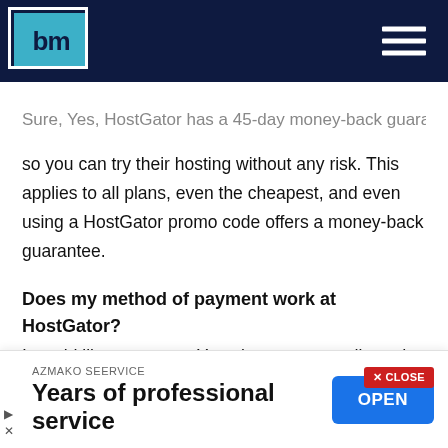[Figure (logo): Website logo with 'bm' text in a teal box with dark navy navbar and hamburger menu icon on the right]
Sure, Yes, HostGator has a 45-day money-back guarantee, so you can try their hosting without any risk. This applies to all plans, even the cheapest, and even using a HostGator promo code offers a money-back guarantee.
Does my method of payment work at HostGator?
I would like to say yes You also accept credit cards, PayPal, checks, money orders and, bank wire. Example: Credit and Debit Cards, Prepaid and Gift Cards, Verified by Visa or MasterCard Secure Code, PayPal, Regional Payment Methods Accepted via PayPal, Maestro / Switch, and d
[Figure (other): Advertisement banner: AZMAKO SEERVICE - Years of professional service - with OPEN button]